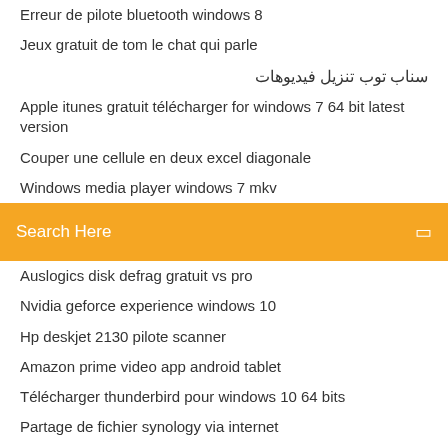Erreur de pilote bluetooth windows 8
Jeux gratuit de tom le chat qui parle
سناب توب تنزيل فيديوهات
Apple itunes gratuit télécharger for windows 7 64 bit latest version
Couper une cellule en deux excel diagonale
Windows media player windows 7 mkv
Search Here
Auslogics disk defrag gratuit vs pro
Nvidia geforce experience windows 10
Hp deskjet 2130 pilote scanner
Amazon prime video app android tablet
Télécharger thunderbird pour windows 10 64 bits
Partage de fichier synology via internet
Installer whatsapp sur une tablette
Five night at candy world
Telecharger firefox pour win 7
Compresser une video mp4 sans perte de qualité